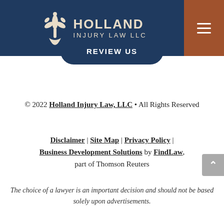[Figure (logo): Holland Injury Law LLC logo with fleur-de-lis style icon and text on dark navy background, with brown hamburger menu area on right]
REVIEW US
© 2022 Holland Injury Law, LLC • All Rights Reserved
Disclaimer | Site Map | Privacy Policy | Business Development Solutions by FindLaw, part of Thomson Reuters
The choice of a lawyer is an important decision and should not be based solely upon advertisements.